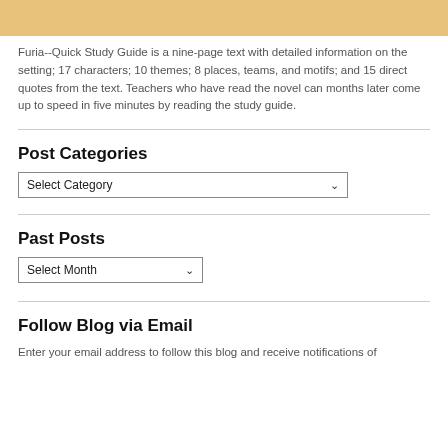[Figure (other): Gold/tan colored banner bar at the top of the page]
Furia--Quick Study Guide is a nine-page text with detailed information on the setting; 17 characters; 10 themes; 8 places, teams, and motifs; and 15 direct quotes from the text. Teachers who have read the novel can months later come up to speed in five minutes by reading the study guide.
Post Categories
Select Category
Past Posts
Select Month
Follow Blog via Email
Enter your email address to follow this blog and receive notifications of